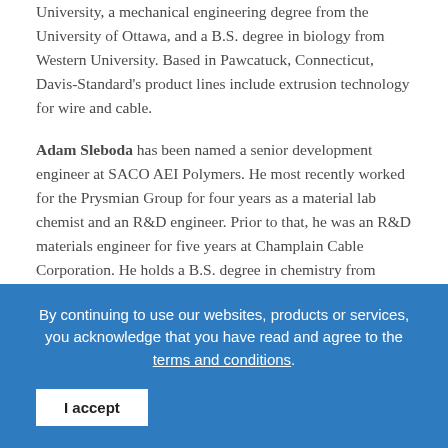University, a mechanical engineering degree from the University of Ottawa, and a B.S. degree in biology from Western University. Based in Pawcatuck, Connecticut, Davis-Standard's product lines include extrusion technology for wire and cable.
Adam Sleboda has been named a senior development engineer at SACO AEI Polymers. He most recently worked for the Prysmian Group for four years as a material lab chemist and an R&D engineer. Prior to that, he was an R&D materials engineer for five years at Champlain Cable Corporation. He holds a B.S. degree in chemistry from King's College. Based in Sheboygan, Wisconsin, SACO AEI Polymers supplies thermoplastic and thermoset compounds, additives and masterbatches.
Andrew P... (clipped)
By continuing to use our websites, products or services, you acknowledge that you have read and agree to the terms and conditions.
I accept